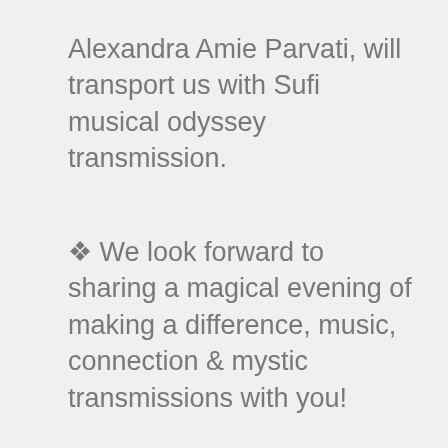Alexandra Amie Parvati, will transport us with Sufi musical odyssey transmission.
✦ We look forward to sharing a magical evening of making a difference, music, connection & mystic transmissions with you!
5:30 PM - Doors open
6:00 PM - Ceremony begins
7:30 PM - Transition to Pyramid
Attire: White & Green Ceremonial
✦ Every ticket plants a tree IDR100,000 - child (10-15 years old)